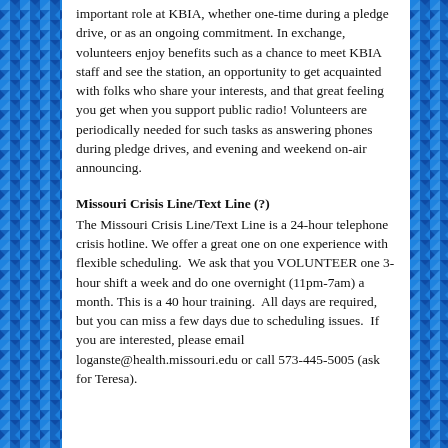important role at KBIA, whether one-time during a pledge drive, or as an ongoing commitment. In exchange, volunteers enjoy benefits such as a chance to meet KBIA staff and see the station, an opportunity to get acquainted with folks who share your interests, and that great feeling you get when you support public radio! Volunteers are periodically needed for such tasks as answering phones during pledge drives, and evening and weekend on-air announcing.
Missouri Crisis Line/Text Line (?)
The Missouri Crisis Line/Text Line is a 24-hour telephone crisis hotline. We offer a great one on one experience with flexible scheduling. We ask that you VOLUNTEER one 3-hour shift a week and do one overnight (11pm-7am) a month. This is a 40 hour training. All days are required, but you can miss a few days due to scheduling issues. If you are interested, please email loganste@health.missouri.edu or call 573-445-5005 (ask for Teresa).